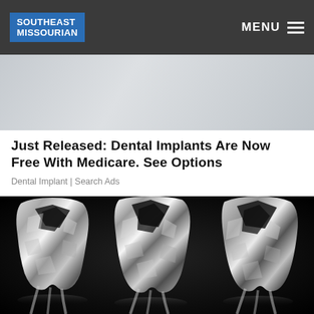SOUTHEAST MISSOURIAN | MENU
[Figure (photo): Partial photo of a person visible as a cropped strip at the top]
Just Released: Dental Implants Are Now Free With Medicare. See Options
Dental Implant | Search Ads
[Figure (photo): Three large crystal/diamond-textured molar teeth on a black background with reflections below]